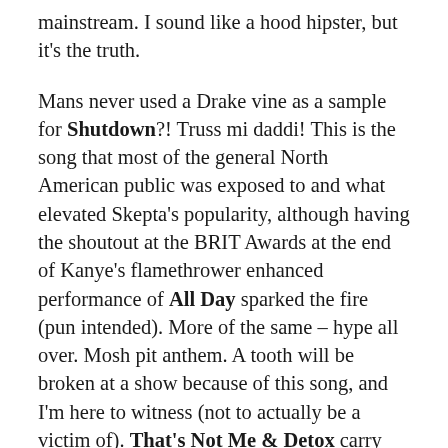mainstream. I sound like a hood hipster, but it's the truth.
Mans never used a Drake vine as a sample for Shutdown?! Truss mi daddi! This is the song that most of the general North American public was exposed to and what elevated Skepta's popularity, although having the shoutout at the BRIT Awards at the end of Kanye's flamethrower enhanced performance of All Day sparked the fire (pun intended). More of the same – hype all over. Mosh pit anthem. A tooth will be broken at a show because of this song, and I'm here to witness (not to actually be a victim of). That's Not Me & Detox carry the same type of vibe which don't necessarily need to be mentioned in terms of having something that stands out, although 'Detox' is relatable because when you go hard all day and all night, you need to find a necessary remedy to step back and tek (take) time. But that's the lifestyle they